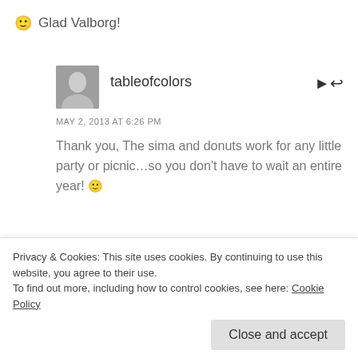🙂 Glad Valborg!
tableofcolors
MAY 2, 2013 AT 6:26 PM
Thank you, The sima and donuts work for any little party or picnic…so you don't have to wait an entire year! 🙂
sachensucherin
Privacy & Cookies: This site uses cookies. By continuing to use this website, you agree to their use.
To find out more, including how to control cookies, see here: Cookie Policy
Close and accept